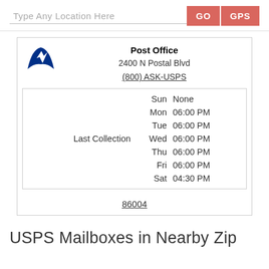Type Any Location Here
GO   GPS
Post Office
2400 N Postal Blvd
(800) ASK-USPS
|  | Day | Time |
| --- | --- | --- |
|  | Sun | None |
|  | Mon | 06:00 PM |
|  | Tue | 06:00 PM |
| Last Collection | Wed | 06:00 PM |
|  | Thu | 06:00 PM |
|  | Fri | 06:00 PM |
|  | Sat | 04:30 PM |
86004
USPS Mailboxes in Nearby Zip